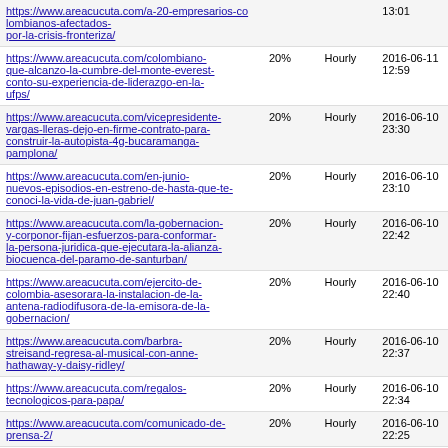| URL | Priority | Change Frequency | Last Modified |
| --- | --- | --- | --- |
| https://www.areacucuta.com/a-20-empresarios-colombianos-afectados-por-la-crisis-fronteriza/ |  |  | 13:01 |
| https://www.areacucuta.com/colombiano-que-alcanzo-la-cumbre-del-monte-everest-conto-su-experiencia-de-liderazgo-en-la-ufps/ | 20% | Hourly | 2016-06-11 12:59 |
| https://www.areacucuta.com/vicepresidente-vargas-lleras-dejo-en-firme-contrato-para-construir-la-autopista-4g-bucaramanga-pamplona/ | 20% | Hourly | 2016-06-10 23:30 |
| https://www.areacucuta.com/en-junio-nuevos-episodios-en-estreno-de-hasta-que-te-conoci-la-vida-de-juan-gabriel/ | 20% | Hourly | 2016-06-10 23:10 |
| https://www.areacucuta.com/la-gobernacion-y-corponor-fijan-esfuerzos-para-conformar-la-persona-juridica-que-ejecutara-la-alianza-biocuenca-del-paramo-de-santurban/ | 20% | Hourly | 2016-06-10 22:42 |
| https://www.areacucuta.com/ejercito-de-colombia-asesorara-la-instalacion-de-la-antena-radiodifusora-de-la-emisora-de-la-gobernacion/ | 20% | Hourly | 2016-06-10 22:40 |
| https://www.areacucuta.com/barbra-streisand-regresa-al-musical-con-anne-hathaway-y-daisy-ridley/ | 20% | Hourly | 2016-06-10 22:37 |
| https://www.areacucuta.com/regalos-tecnologicos-para-papa/ | 20% | Hourly | 2016-06-10 22:34 |
| https://www.areacucuta.com/comunicado-de-prensa-2/ | 20% | Hourly | 2016-06-10 22:25 |
| https://www.areacucuta.com/expertos-discuten-el-camino-a-la-digitalizacion-en-colombia-durante-el-foro-ciudades-i360-realizado-por-la-ccit-y-el-mintic/ | 20% | Hourly | 2016-06-10 22:12 |
| https://www.areacucuta.com/universitarios-interesados-en-hacer-su-practica-profesional-... | 20% | Hourly | 2016-06-10 ... |